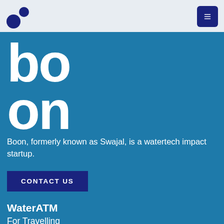Boon logo navigation header with hamburger menu
[Figure (logo): Boon logo mark — two dots (dark blue small circle and larger dark blue circle) forming a brand mark, displayed in the top navigation bar on light blue-grey background]
[Figure (logo): Large 'boon' wordmark in white bold text on teal/blue background]
Boon, formerly known as Swajal, is a watertech impact startup.
CONTACT US
WaterATM
For Travelling
For Communities